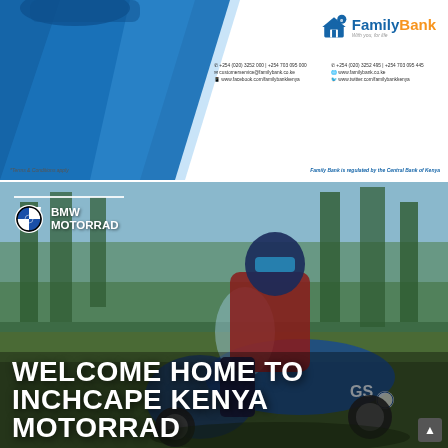[Figure (photo): Family Bank advertisement banner with blue geometric design on the left and bank logo, contact details on the right. Shows phone numbers, email, website, Facebook and Twitter links. Footer text: Terms & Conditions apply. Family Bank is regulated by the Central Bank of Kenya.]
[Figure (photo): BMW Motorrad advertisement showing a motorcyclist in full riding gear on a BMW GS motorcycle in an outdoor/forest setting. BMW Motorrad logo with white horizontal line at top left. Large white bold text at bottom reads WELCOME HOME TO INCHCAPE KENYA MOTORRAD.]